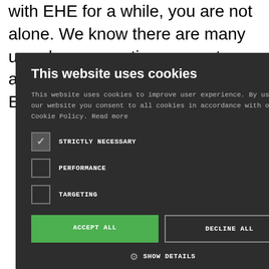with EHE for a while, you are not alone. We know there are many unwelcome emotions, symptoms, and worries associated with an EHE diagnosis and we
[Figure (screenshot): Cookie consent modal dialog with dark background. Title: 'This website uses cookies'. Body text explains cookies are used to improve user experience. Three checkboxes: STRICTLY NECESSARY (checked), PERFORMANCE (unchecked), TARGETING (unchecked). Two buttons: ACCEPT ALL (green) and DECLINE ALL (outlined). SHOW DETAILS link with gear icon at bottom. Close X button in top right corner.]
ting point in ly encourage ling list, and cial media , Instagram, eam team with an t with others